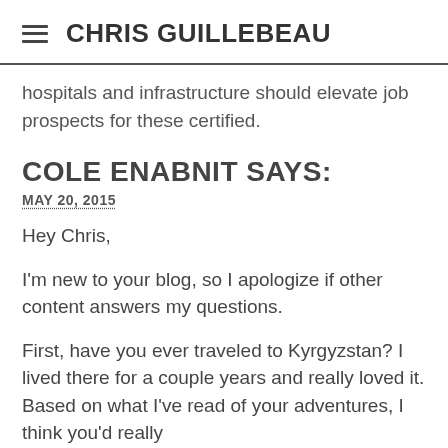CHRIS GUILLEBEAU
hospitals and infrastructure should elevate job prospects for these certified.
COLE ENABNIT SAYS:
MAY 20, 2015
Hey Chris,
I'm new to your blog, so I apologize if other content answers my questions.
First, have you ever traveled to Kyrgyzstan? I lived there for a couple years and really loved it. Based on what I've read of your adventures, I think you'd really